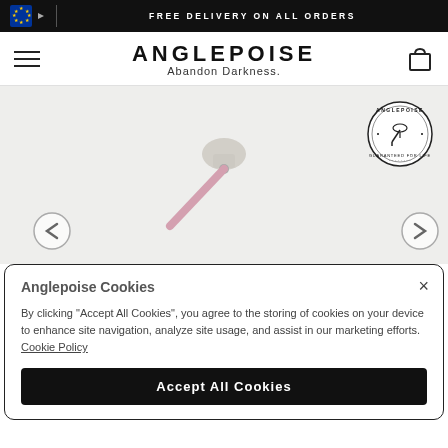FREE DELIVERY ON ALL ORDERS
ANGLEPOISE
Abandon Darkness.
[Figure (logo): Anglepoise circular stamp logo reading 'ANGLEPOISE GUARANTEED FOR LIFE' with lamp graphic in center]
[Figure (photo): Product photo of an Anglepoise desk lamp in cream/beige with pink arm on light grey background]
Anglepoise Cookies
By clicking "Accept All Cookies", you agree to the storing of cookies on your device to enhance site navigation, analyze site usage, and assist in our marketing efforts. Cookie Policy
Accept All Cookies